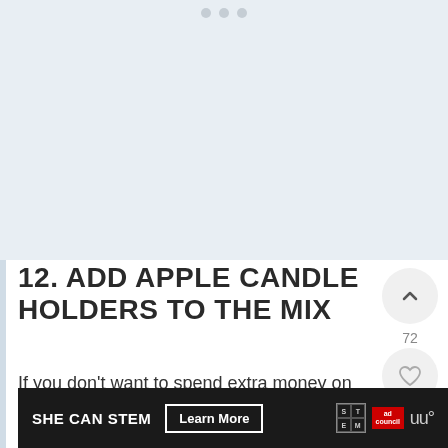[Figure (photo): Image placeholder area with light blue-gray background, navigation dots at top]
12. ADD APPLE CANDLE HOLDERS TO THE MIX
If you don't want to spend extra money on Halloween-style candle holders, use apple instead. Take a few red apples, and hollow
[Figure (other): Ad banner: SHE CAN STEM Learn More button with STEM logo and Ad Council logo]